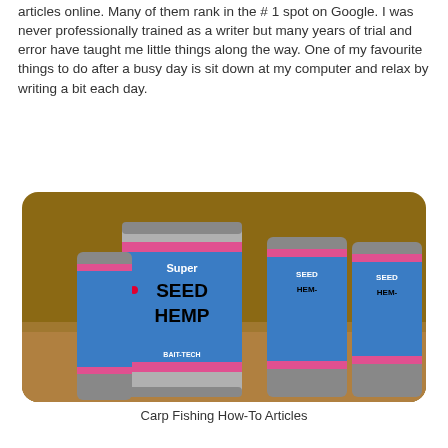articles online. Many of them rank in the # 1 spot on Google. I was never professionally trained as a writer but many years of trial and error have taught me little things along the way. One of my favourite things to do after a busy day is sit down at my computer and relax by writing a bit each day.
[Figure (photo): Several cans of 'Super Seed Hemp' fishing bait product with blue labels, arranged on a wooden surface.]
Carp Fishing How-To Articles